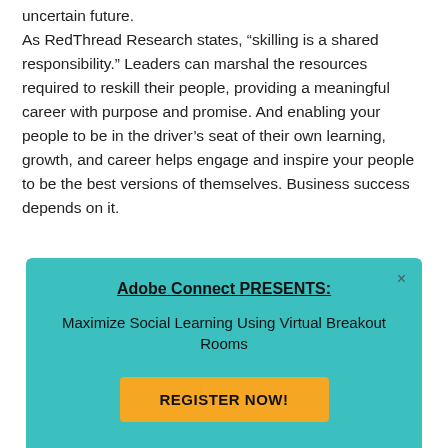uncertain future.
As RedThread Research states, “skilling is a shared responsibility.” Leaders can marshal the resources required to reskill their people, providing a meaningful career with purpose and promise. And enabling your people to be in the driver’s seat of their own learning, growth, and career helps engage and inspire your people to be the best versions of themselves. Business success depends on it.
[Figure (infographic): Promotional banner for Adobe Connect webinar titled 'Adobe Connect PRESENTS: Maximize Social Learning Using Virtual Breakout Rooms' with a teal background, close button, and yellow 'REGISTER NOW!' button.]